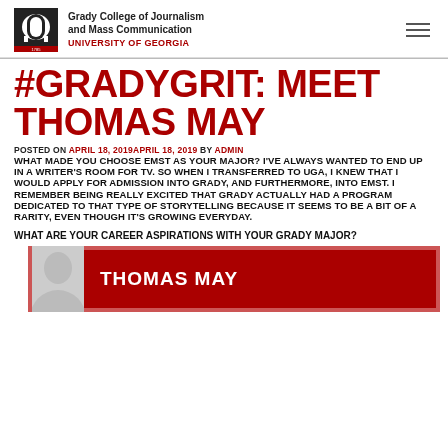Grady College of Journalism and Mass Communication UNIVERSITY OF GEORGIA
#GRADYGRIT: MEET THOMAS MAY
POSTED ON APRIL 18, 2019APRIL 18, 2019 BY ADMIN
WHAT MADE YOU CHOOSE EMST AS YOUR MAJOR? I'VE ALWAYS WANTED TO END UP IN A WRITER'S ROOM FOR TV. SO WHEN I TRANSFERRED TO UGA, I KNEW THAT I WOULD APPLY FOR ADMISSION INTO GRADY, AND FURTHERMORE, INTO EMST. I REMEMBER BEING REALLY EXCITED THAT GRADY ACTUALLY HAD A PROGRAM DEDICATED TO THAT TYPE OF STORYTELLING BECAUSE IT SEEMS TO BE A BIT OF A RARITY, EVEN THOUGH IT'S GROWING EVERYDAY.
WHAT ARE YOUR CAREER ASPIRATIONS WITH YOUR GRADY MAJOR?
[Figure (photo): Red card graphic with photo placeholder and text THOMAS MAY]